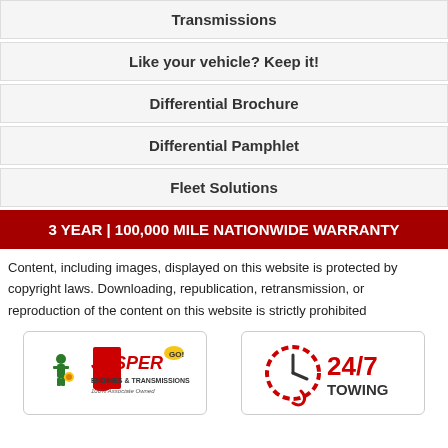Transmissions
Like your vehicle? Keep it!
Differential Brochure
Differential Pamphlet
Fleet Solutions
3 YEAR | 100,000 MILE NATIONWIDE WARRANTY
Content, including images, displayed on this website is protected by copyright laws. Downloading, republication, retransmission, or reproduction of the content on this website is strictly prohibited
[Figure (logo): Jasper Engines & Transmissions logo — 100% Associate Owned]
[Figure (logo): 24/7 Towing logo with clock/chain icon]